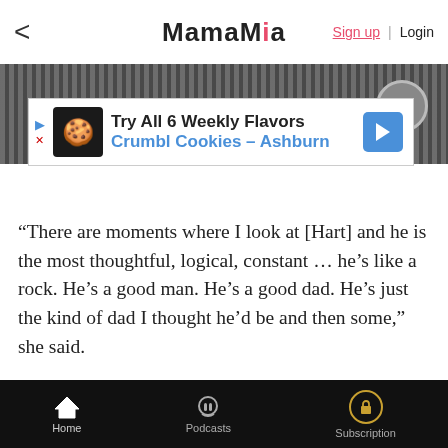MamaMia | Sign up | Login
[Figure (screenshot): Dark video/image area with horizontal stripes and a circular icon on the right]
[Figure (infographic): Advertisement banner for Crumbl Cookies - Ashburn: Try All 6 Weekly Flavors]
“There are moments where I look at [Hart] and he is the most thoughtful, logical, constant … he’s like a rock. He’s a good man. He’s a good dad. He’s just the kind of dad I thought he’d be and then some,” she said.
“And then I’ll look at him and go: ‘I’ve never liked you. There’s nothing I like about you. We have nothing in common. I don’t like any of the s—t you like. I don’t ever wanna see you again.’”
“Then two weeks later I’m like, ‘Things are going so good, you guys.’ Then you’ll go through times when you haven’t had sex in a year. Is this bed death? Is this
Home | Podcasts | Subscription